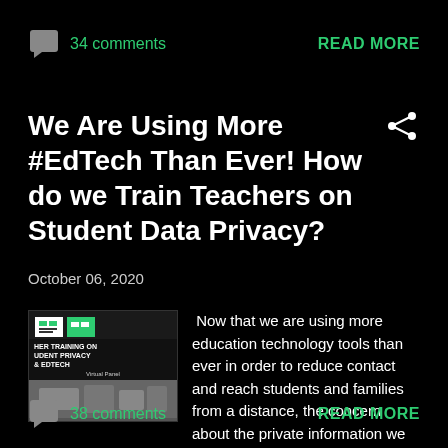34 comments   READ MORE
We Are Using More #EdTech Than Ever! How do we Train Teachers on Student Data Privacy?
October 06, 2020
[Figure (photo): Book cover or event thumbnail for 'Teacher Training on Student Privacy & EdTech - Virtual Panel']
Now that we are using more education technology tools than ever in order to reduce contact and reach students and families from a distance, the concern about the private information we are creating and ...
38 comments   READ MORE